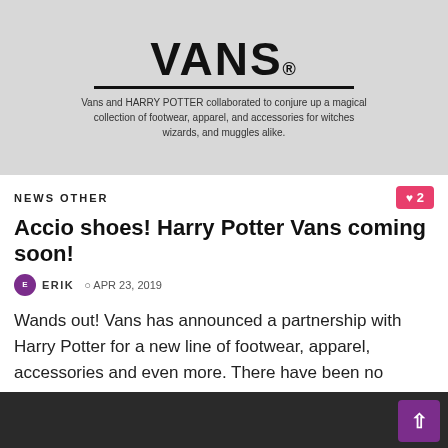[Figure (logo): Vans logo with horizontal line above it on grey textured background, with tagline text below: Vans and HARRY POTTER collaborated to conjure up a magical collection of footwear, apparel, and accessories for witches wizards, and muggles alike.]
NEWS OTHER
Accio shoes! Harry Potter Vans coming soon!
ERIK  APR 23, 2019
Wands out! Vans has announced a partnership with Harry Potter for a new line of footwear, apparel, accessories and even more. There have been no details about the new...
READ MORE
[Figure (photo): Dark photo strip at bottom of page]